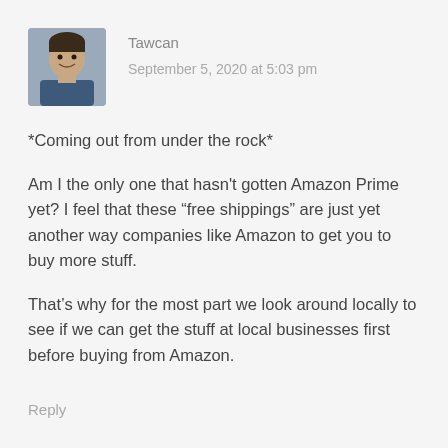[Figure (photo): Profile photo of a man smiling, wearing a dark blue shirt]
Tawcan
September 5, 2020 at 5:03 pm
*Coming out from under the rock*
Am I the only one that hasn't gotten Amazon Prime yet? I feel that these “free shippings” are just yet another way companies like Amazon to get you to buy more stuff.
That’s why for the most part we look around locally to see if we can get the stuff at local businesses first before buying from Amazon.
Reply